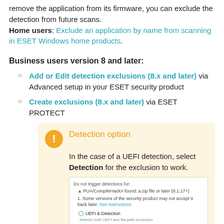remove the application from its firmware, you can exclude the detection from future scans. Home users: Exclude an application by name from scanning in ESET Windows home products.
Business users version 8 and later:
Add or Edit detection exclusions (8.x and later) via Advanced setup in your ESET security product
Create exclusions (8.x and later) via ESET PROTECT
[Figure (screenshot): Detection option notice box with warning icon, title 'Detection option' in orange, body text 'In the case of a UEFI detection, select Detection for the exclusion to work.', and a screenshot of an ESET dialog showing detection exclusion options including a radio button for 'UEFI & Detection'.]